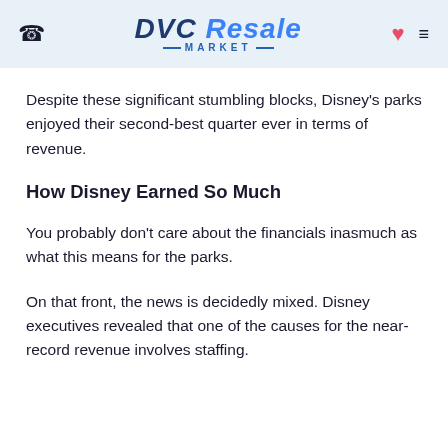DVC Resale Market
Despite these significant stumbling blocks, Disney's parks enjoyed their second-best quarter ever in terms of revenue.
How Disney Earned So Much
You probably don't care about the financials inasmuch as what this means for the parks.
On that front, the news is decidedly mixed. Disney executives revealed that one of the causes for the near-record revenue involves staffing.